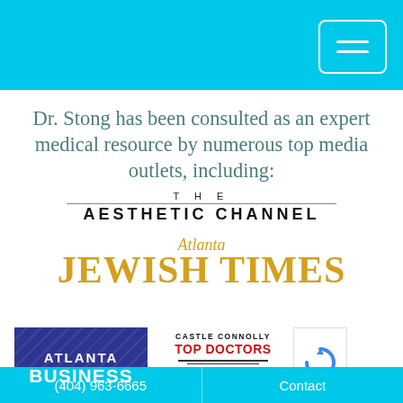[Figure (screenshot): Top cyan header bar with hamburger menu button (white outlined rectangle with two white horizontal lines) on the right side]
Dr. Stong has been consulted as an expert medical resource by numerous top media outlets, including:
[Figure (logo): The Aesthetic Channel logo — 'THE' in small spaced caps above a horizontal rule above 'AESTHETIC CHANNEL' in large spaced bold caps]
[Figure (logo): Atlanta Jewish Times logo — 'Atlanta' in gold italic script above 'JEWISH TIMES' in large gold bold serif text]
[Figure (logo): Atlanta Business Chronicle logo — navy blue box with diagonal stripe pattern, 'ATLANTA' and 'BUSINESS' in white bold text]
[Figure (logo): Castle Connolly Top Doctors logo — black text 'CASTLE CONNOLLY' above red 'TOP DOCTORS' above decorative horizontal lines and a caduceus/medical emblem]
[Figure (logo): Partial reCAPTCHA logo visible at right edge]
(404) 963-6665
Contact